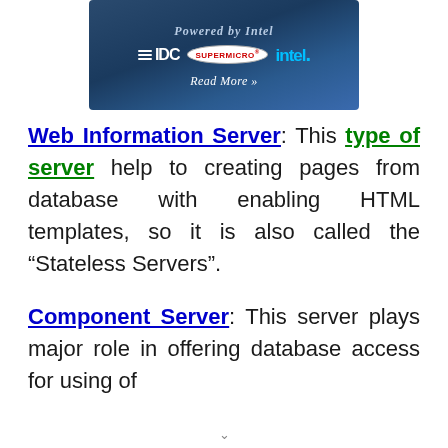[Figure (illustration): Banner advertisement showing 'Powered by Intel' with IDC, Supermicro, and Intel logos, and a 'Read More >>' call to action on a dark blue background.]
Web Information Server: This type of server help to creating pages from database with enabling HTML templates, so it is also called the “Stateless Servers”.
Component Server: This server plays major role in offering database access for using of